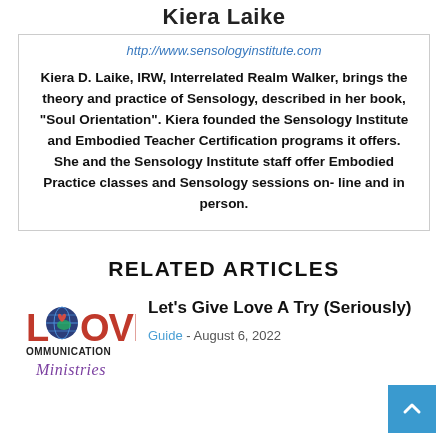Kiera Laike
http://www.sensologyinstitute.com
Kiera D. Laike, IRW, Interrelated Realm Walker, brings the theory and practice of Sensology, described in her book, "Soul Orientation". Kiera founded the Sensology Institute and Embodied Teacher Certification programs it offers. She and the Sensology Institute staff offer Embodied Practice classes and Sensology sessions on- line and in person.
RELATED ARTICLES
[Figure (logo): Love Communication Ministries logo with heart globe graphic and cursive text]
Let's Give Love A Try (Seriously)
Guide - August 6, 2022